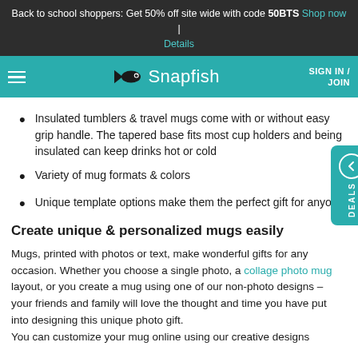Back to school shoppers: Get 50% off site wide with code 50BTS Shop now | Details
Snapfish — SIGN IN / JOIN
Insulated tumblers & travel mugs come with or without easy grip handle. The tapered base fits most cup holders and being insulated can keep drinks hot or cold
Variety of mug formats & colors
Unique template options make them the perfect gift for anyone
Create unique & personalized mugs easily
Mugs, printed with photos or text, make wonderful gifts for any occasion. Whether you choose a single photo, a collage photo mug layout, or you create a mug using one of our non-photo designs – your friends and family will love the thought and time you have put into designing this unique photo gift.
You can customize your mug online using our creative designs